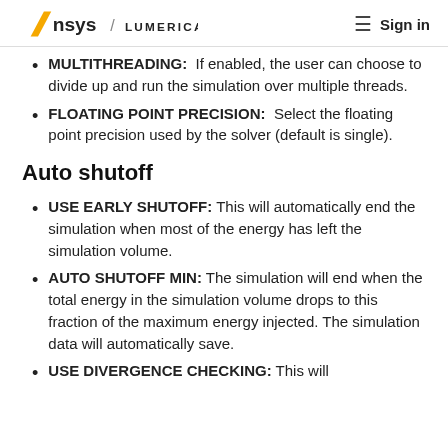Ansys / LUMERICAL   Sign in
MULTITHREADING:  If enabled, the user can choose to divide up and run the simulation over multiple threads.
FLOATING POINT PRECISION:  Select the floating point precision used by the solver (default is single).
Auto shutoff
USE EARLY SHUTOFF: This will automatically end the simulation when most of the energy has left the simulation volume.
AUTO SHUTOFF MIN: The simulation will end when the total energy in the simulation volume drops to this fraction of the maximum energy injected. The simulation data will automatically save.
USE DIVERGENCE CHECKING: This will